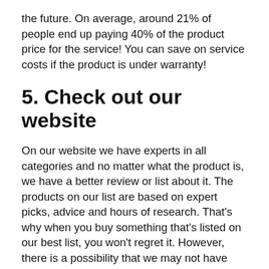the future. On average, around 21% of people end up paying 40% of the product price for the service! You can save on service costs if the product is under warranty!
5. Check out our website
On our website we have experts in all categories and no matter what the product is, we have a better review or list about it. The products on our list are based on expert picks, advice and hours of research. That’s why when you buy something that’s listed on our best list, you won’t regret it. However, there is a possibility that we may not have covered the product you might be interested in, but if you come across something like this, please let us know via comments or